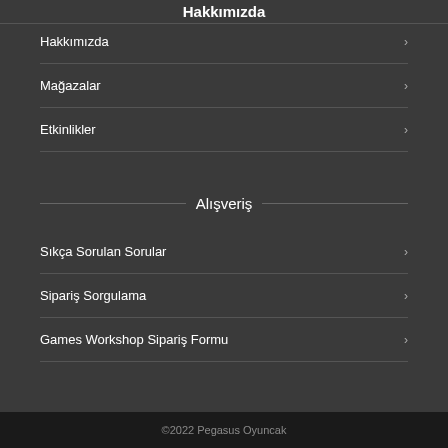Hakkımızda
Hakkımızda
Mağazalar
Etkinlikler
Alışveriş
Sıkça Sorulan Sorular
Sipariş Sorgulama
Games Workshop Sipariş Formu
©2022 Pegasus Oyuncak